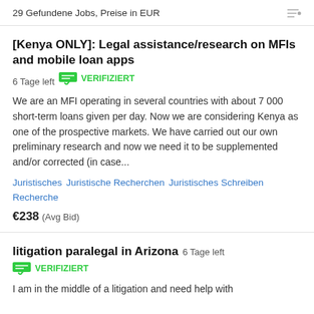29 Gefundene Jobs, Preise in EUR
[Kenya ONLY]: Legal assistance/research on MFIs and mobile loan apps  6 Tage left  VERIFIZIERT
We are an MFI operating in several countries with about 7 000 short-term loans given per day. Now we are considering Kenya as one of the prospective markets. We have carried out our own preliminary research and now we need it to be supplemented and/or corrected (in case...
Juristisches
Juristische Recherchen
Juristisches Schreiben
Recherche
€238  (Avg Bid)
litigation paralegal in Arizona  6 Tage left  VERIFIZIERT
I am in the middle of a litigation and need help with